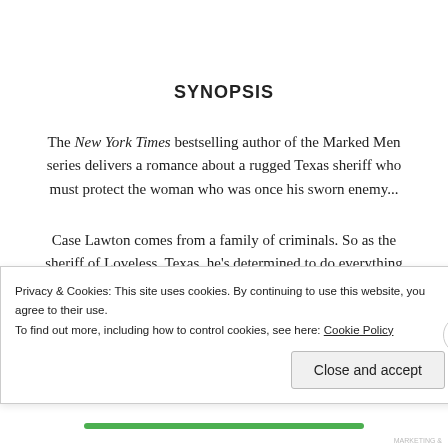SYNOPSIS
The New York Times bestselling author of the Marked Men series delivers a romance about a rugged Texas sheriff who must protect the woman who was once his sworn enemy...
Case Lawton comes from a family of criminals. So as the sheriff of Loveless, Texas, he's determined to do everything by the book–until he's called to Aspen
Privacy & Cookies: This site uses cookies. By continuing to use this website, you agree to their use.
To find out more, including how to control cookies, see here: Cookie Policy
Close and accept